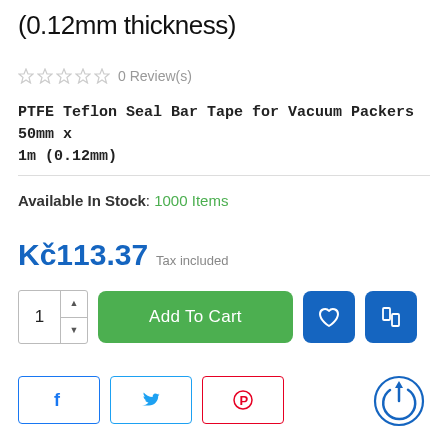(0.12mm thickness)
0 Review(s)
PTFE Teflon Seal Bar Tape for Vacuum Packers 50mm x 1m (0.12mm)
Available In Stock: 1000 Items
Kč113.37 Tax included
[Figure (screenshot): Add to Cart button row with quantity selector and wishlist/compare buttons]
[Figure (screenshot): Social share buttons row: Facebook, Twitter, Pinterest, and a power/share icon]